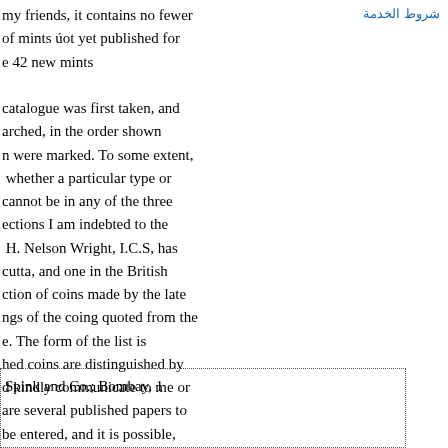شروط الخدمة
my friends, it contains no fewer of mints úot yet published for e 42 new mints

catalogue was first taken, and arched, in the order shown n were marked. To some extent, whether a particular type or cannot be in any of the three ections I am indebted to the H. Nelson Wright, I.C.S, has cutta, and one in the British ction of coins made by the late ngs of the coing quoted from the e. The form of the list is hed coins are distinguished by d kindly communicate to me or are several published papers to be entered, and it is possible,
Spink and Co.; Bombay, 1